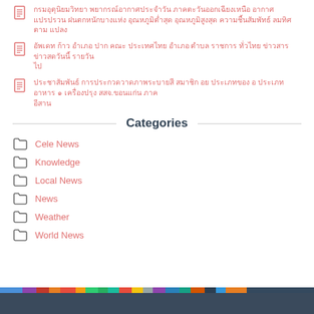[doc icon] [Thai text link 1]
[doc icon] [Thai text link 2]
[doc icon] [Thai text link 3]
Categories
Cele News
Knowledge
Local News
News
Weather
World News